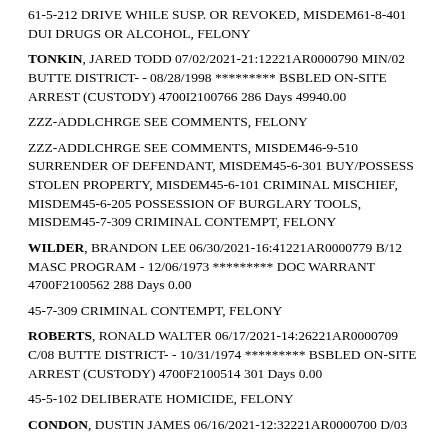61-5-212 DRIVE WHILE SUSP. OR REVOKED, MISDEM61-8-401 DUI DRUGS OR ALCOHOL, FELONY
TONKIN, JARED TODD 07/02/2021-21:12221AR0000790 MIN/02 BUTTE DISTRICT- - 08/28/1998 ********* BSBLED ON-SITE ARREST (CUSTODY) 4700I2100766 286 Days 49940.00
ZZZ-ADDLCHRGE SEE COMMENTS, FELONY
ZZZ-ADDLCHRGE SEE COMMENTS, MISDEM46-9-510 SURRENDER OF DEFENDANT, MISDEM45-6-301 BUY/POSSESS STOLEN PROPERTY, MISDEM45-6-101 CRIMINAL MISCHIEF, MISDEM45-6-205 POSSESSION OF BURGLARY TOOLS, MISDEM45-7-309 CRIMINAL CONTEMPT, FELONY
WILDER, BRANDON LEE 06/30/2021-16:41221AR0000779 B/12 MASC PROGRAM - 12/06/1973 ********* DOC WARRANT 4700F2100562 288 Days 0.00
45-7-309 CRIMINAL CONTEMPT, FELONY
ROBERTS, RONALD WALTER 06/17/2021-14:26221AR0000709 C/08 BUTTE DISTRICT- - 10/31/1974 ********* BSBLED ON-SITE ARREST (CUSTODY) 4700F2100514 301 Days 0.00
45-5-102 DELIBERATE HOMICIDE, FELONY
CONDON, DUSTIN JAMES 06/16/2021-12:32221AR0000700 D/03